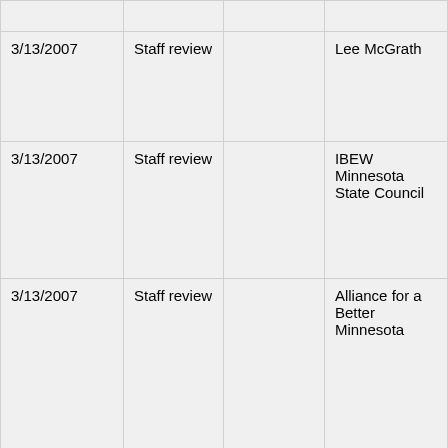| Date | Type |  | Name |
| --- | --- | --- | --- |
|  |  |  |  |
| 3/13/2007 | Staff review |  | Lee McGrath |
| 3/13/2007 | Staff review |  | IBEW Minnesota State Council |
| 3/13/2007 | Staff review |  | Alliance for a Better Minnesota |
| 3/2/2007 | Staff review |  | Becky Lourey for Governor |
| 2/21/2007 | Staff review |  | Citizens for Dan Steven... |